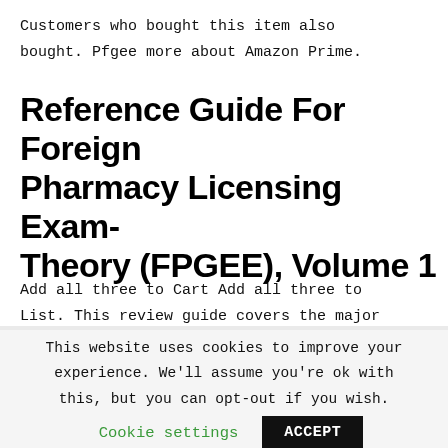Customers who bought this item also bought. Pfgee more about Amazon Prime.
Reference Guide For Foreign Pharmacy Licensing Exam-Theory (FPGEE), Volume 1
Add all three to Cart Add all three to List. This review guide covers the major areas of study for preparation of
This website uses cookies to improve your experience. We'll assume you're ok with this, but you can opt-out if you wish.
Cookie settings  ACCEPT